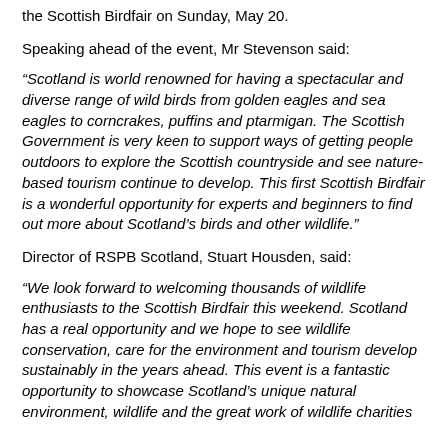the Scottish Birdfair on Sunday, May 20.
Speaking ahead of the event, Mr Stevenson said:
“Scotland is world renowned for having a spectacular and diverse range of wild birds from golden eagles and sea eagles to corncrakes, puffins and ptarmigan. The Scottish Government is very keen to support ways of getting people outdoors to explore the Scottish countryside and see nature-based tourism continue to develop. This first Scottish Birdfair is a wonderful opportunity for experts and beginners to find out more about Scotland’s birds and other wildlife.”
Director of RSPB Scotland, Stuart Housden, said:
“We look forward to welcoming thousands of wildlife enthusiasts to the Scottish Birdfair this weekend. Scotland has a real opportunity and we hope to see wildlife conservation, care for the environment and tourism develop sustainably in the years ahead. This event is a fantastic opportunity to showcase Scotland’s unique natural environment, wildlife and the great work of wildlife charities